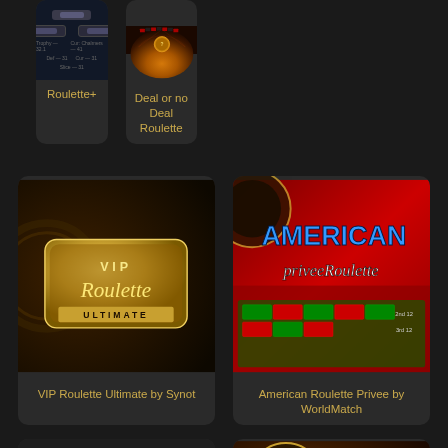[Figure (screenshot): Roulette+ game card showing a dark UI interface with game stats]
Roulette+
[Figure (screenshot): Deal or no Deal Roulette game card showing a gold roulette wheel with orange mystery token]
Deal or no Deal Roulette
[Figure (screenshot): VIP Roulette Ultimate by Synot game card with gold VIP badge logo on dark background]
VIP Roulette Ultimate by Synot
[Figure (screenshot): American Roulette Privee by WorldMatch showing red roulette table with blue AMERICAN text and white script priveeRoulette]
American Roulette Privee by WorldMatch
[Figure (screenshot): Dark placeholder game card (no image)]
[Figure (screenshot): Roulette game card showing overhead view of roulette wheel and green betting table]